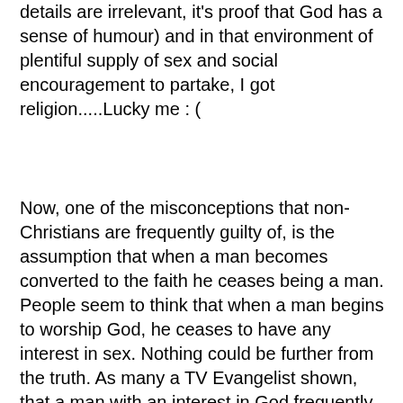details are irrelevant, it's proof that God has a sense of humour) and in that environment of plentiful supply of sex and social encouragement to partake, I got religion.....Lucky me : (
Now, one of the misconceptions that non-Christians are frequently guilty of, is the assumption that when a man becomes converted to the faith he ceases being a man. People seem to think that when a man begins to worship God, he ceases to have any interest in sex. Nothing could be further from the truth. As many a TV Evangelist shown, that a man with an interest in God frequently has an unhealthy interest in sex.
As a result of my conversion I took my religion seriously though reluctantly, and while the flesh always remained willing, my conscience was pretty effective at stopping me giving in to temptation. That is not to say I still did not go out with women or try push it to the absolute limit. But I imagine many must have thought me gay(If they only knew, I kept my religion personal), when I rebuffed their sexual advances. I thought my faith was a curse. Here I was in ocean of women